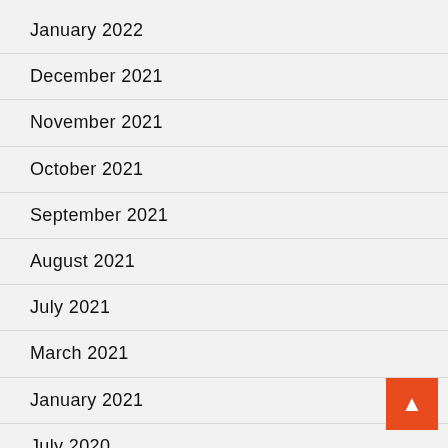January 2022
December 2021
November 2021
October 2021
September 2021
August 2021
July 2021
March 2021
January 2021
July 2020